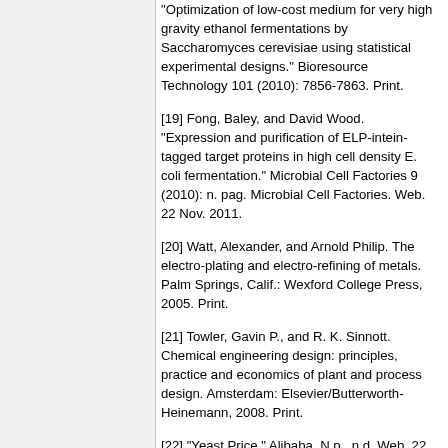"Optimization of low-cost medium for very high gravity ethanol fermentations by Saccharomyces cerevisiae using statistical experimental designs." Bioresource Technology 101 (2010): 7856-7863. Print.
[19] Fong, Baley, and David Wood. "Expression and purification of ELP-intein-tagged target proteins in high cell density E. coli fermentation." Microbial Cell Factories 9 (2010): n. pag. Microbial Cell Factories. Web. 22 Nov. 2011.
[20] Watt, Alexander, and Arnold Philip. The electro-plating and electro-refining of metals. Palm Springs, Calif.: Wexford College Press, 2005. Print.
[21] Towler, Gavin P., and R. K. Sinnott. Chemical engineering design: principles, practice and economics of plant and process design. Amsterdam: Elsevier/Butterworth-Heinemann, 2008. Print.
[22] "Yeast Price." Alibaba. N.p., n.d. Web. 22 Nov. 2011.